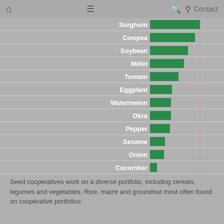Home  Menu  Search  Share  Contact
[Figure (bar-chart): Crops in seed cooperative portfolios]
Seed cooperatives work on a diverse portfolio, including cereals, legumes and vegetables. Rice, maize and groundnut most often found on cooperative portfolios